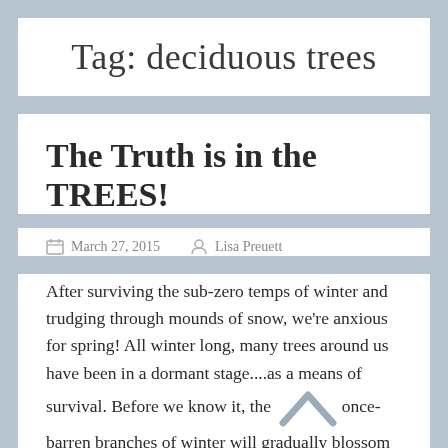Tag: deciduous trees
The Truth is in the TREES!
March 27, 2015   Lisa Preuett
After surviving the sub-zero temps of winter and trudging through mounds of snow, we're anxious for spring! All winter long, many trees around us have been in a dormant stage....as a means of survival. Before we know it, the once-barren branches of winter will gradually blossom with budding leaves. Leaves that will pop with vibrant shades of GREEN. These are